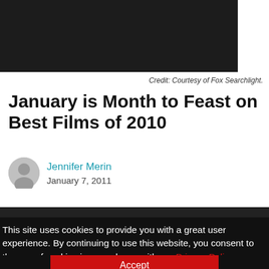[Figure (photo): Top portion of a dark photo showing a person in black clothing with a pointing finger gesture]
Credit: Courtesy of Fox Searchlight.
January is Month to Feast on Best Films of 2010
Jennifer Merin
January 7, 2011
[Figure (logo): Microphone icon with sound waves on dark background]
This site uses cookies to provide you with a great user experience. By continuing to use this website, you consent to the use of cookies in accordance with our Privacy Policy.
Accept